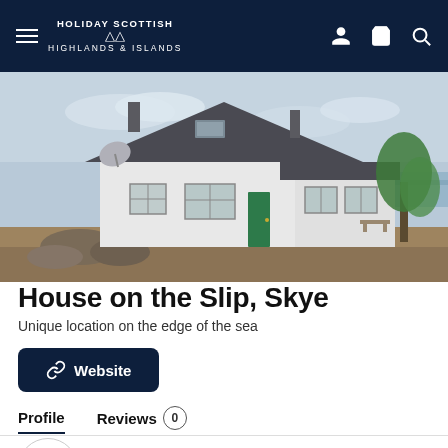HOLIDAY SCOTTISH HIGHLANDS & ISLANDS
[Figure (photo): White rendered cottage/house with dark slate roof, green door, situated at the edge of the sea with water and trees visible in background. Cloudy sky.]
House on the Slip, Skye
Unique location on the edge of the sea
Website
Profile
Reviews 0